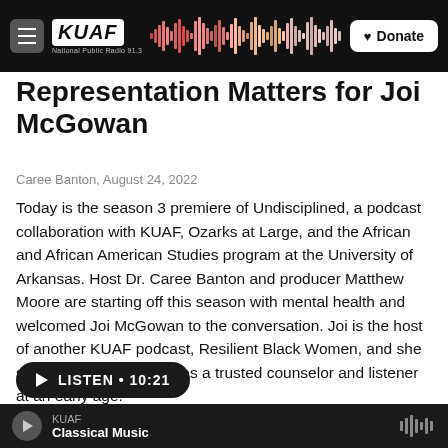KUAF National Public Radio 91.3 — Donate
Representation Matters for Joi McGowan
Caree Banton, August 24, 2022
Today is the season 3 premiere of Undisciplined, a podcast collaboration with KUAF, Ozarks at Large, and the African and African American Studies program at the University of Arkansas. Host Dr. Caree Banton and producer Matthew Moore are starting off this season with mental health and welcomed Joi McGowan to the conversation. Joi is the host of another KUAF podcast, Resilient Black Women, and she says that she was seen as a trusted counselor and listener at an early age.
LISTEN • 10:21
KUAF — Classical Music